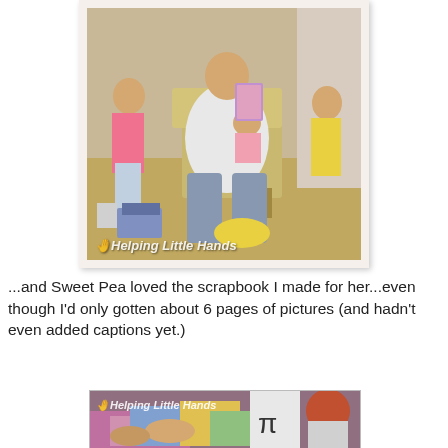[Figure (photo): A man sitting in a chair holding a baby, surrounded by children opening gifts/presents in a living room. A watermark reads 'Helping Little Hands' with a hand icon.]
...and Sweet Pea loved the scrapbook I made for her...even though I'd only gotten about 6 pages of pictures (and hadn't even added captions yet.)
[Figure (photo): Close-up photo of hands working on a scrapbook with colorful pages. A child with red hair is visible. Watermark reads 'Helping Little Hands'.]